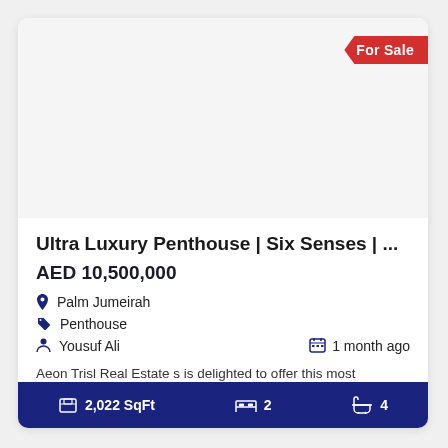[Figure (photo): Property listing card image area (blank/white)]
Ultra Luxury Penthouse | Six Senses | ...
AED 10,500,000
Palm Jumeirah
Penthouse
Yousuf Ali
1 month ago
Aeon Trisl Real Estate s is delighted to offer this most anticipated beachfront development of The Palm
2,022 SqFt   2   4